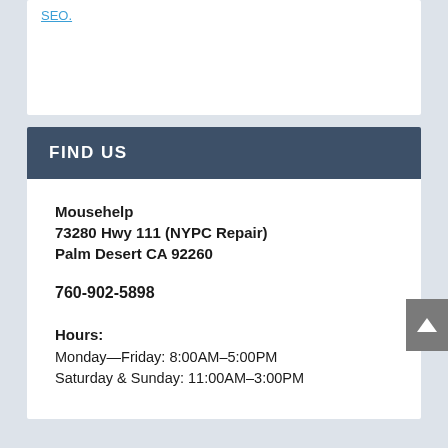SEO.
FIND US
Mousehelp
73280 Hwy 111 (NYPC Repair)
Palm Desert CA 92260

760-902-5898

Hours:
Monday—Friday: 8:00AM–5:00PM
Saturday & Sunday: 11:00AM–3:00PM